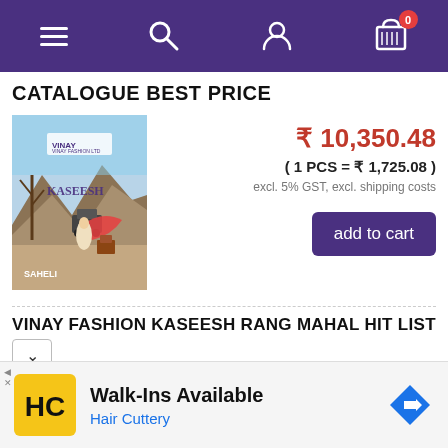Navigation bar with menu, search, account, and cart (0 items)
CATALOGUE BEST PRICE
[Figure (photo): Product catalogue image showing a woman in a desert/outdoor setting with mountains, branded as VINAY FASHION and KASEESH]
₹ 10,350.48
( 1 PCS = ₹ 1,725.08 )
excl. 5% GST, excl. shipping costs
add to cart
VINAY FASHION KASEESH RANG MAHAL HIT LIST
[Figure (screenshot): Advertisement banner: Walk-Ins Available, Hair Cuttery, with HC logo and navigation arrow icon]